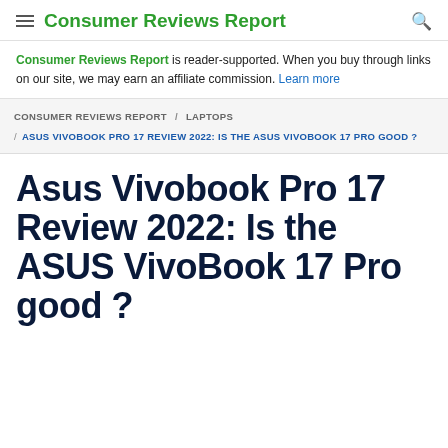Consumer Reviews Report
Consumer Reviews Report is reader-supported. When you buy through links on our site, we may earn an affiliate commission. Learn more
CONSUMER REVIEWS REPORT / LAPTOPS / ASUS VIVOBOOK PRO 17 REVIEW 2022: IS THE ASUS VIVOBOOK 17 PRO GOOD ?
Asus Vivobook Pro 17 Review 2022: Is the ASUS VivoBook 17 Pro good ?